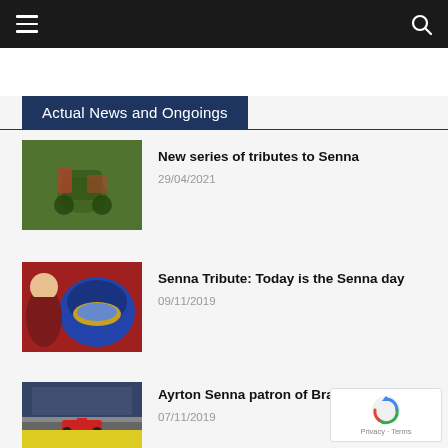Navigation bar with hamburger menu and search icon
Actual News and Ongoings
New series of tributes to Senna
29/04/2021
Senna Tribute: Today is the Senna day
09/11/2019
Ayrton Senna patron of Brazilian sport
07/11/2019
[Figure (screenshot): Partially visible news item at bottom of page]